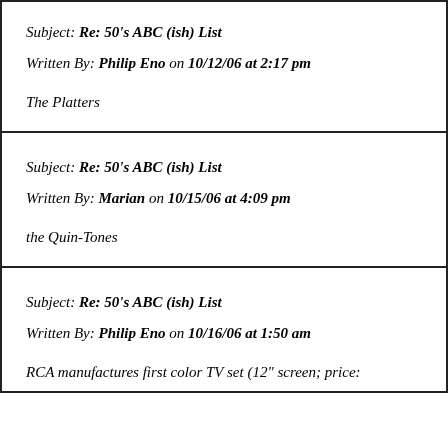Subject: Re: 50's ABC (ish) List
Written By: Philip Eno on 10/12/06 at 2:17 pm

The Platters
Subject: Re: 50's ABC (ish) List
Written By: Marian on 10/15/06 at 4:09 pm

the Quin-Tones
Subject: Re: 50's ABC (ish) List
Written By: Philip Eno on 10/16/06 at 1:50 am

RCA manufactures first color TV set (12" screen; price: